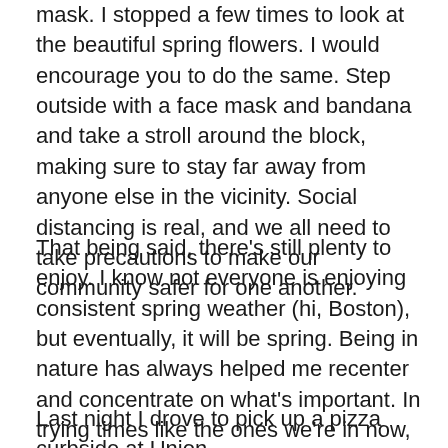mask. I stopped a few times to look at the beautiful spring flowers. I would encourage you to do the same. Step outside with a face mask and bandana and take a stroll around the block, making sure to stay far away from anyone else in the vicinity. Social distancing is real, and we all need to take precautions to make our community safer for one another.
That being said, there's still plenty to enjoy. I know not everyone is enjoying consistent spring weather (hi, Boston), but eventually, it will be spring. Being in nature has always helped me recenter and concentrate on what's important. In trying times like the ones we're in now, it's extra important to take a minute to clear our heads and focus on something that isn't news or COVID-19-related.
Last night I drove to pick up a pizza curbside at Union [cut off]